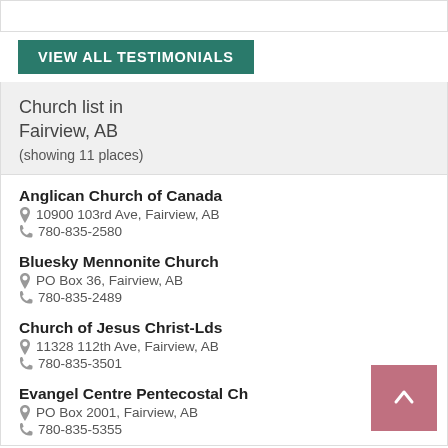VIEW ALL TESTIMONIALS
Church list in Fairview, AB
(showing 11 places)
Anglican Church of Canada
10900 103rd Ave, Fairview, AB
780-835-2580
Bluesky Mennonite Church
PO Box 36, Fairview, AB
780-835-2489
Church of Jesus Christ-Lds
11328 112th Ave, Fairview, AB
780-835-3501
Evangel Centre Pentecostal Ch
PO Box 2001, Fairview, AB
780-835-5355